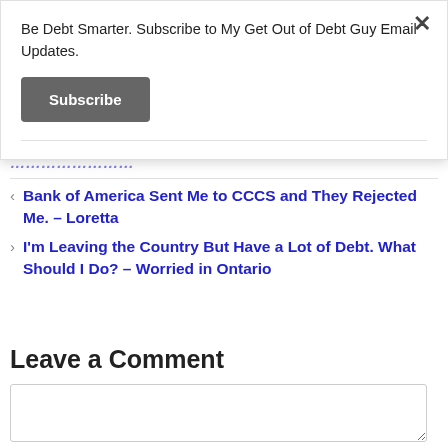Be Debt Smarter. Subscribe to My Get Out of Debt Guy Email Updates.
Subscribe
... (partial link, truncated)
< Bank of America Sent Me to CCCS and They Rejected Me. – Loretta
> I'm Leaving the Country But Have a Lot of Debt. What Should I Do? – Worried in Ontario
Leave a Comment